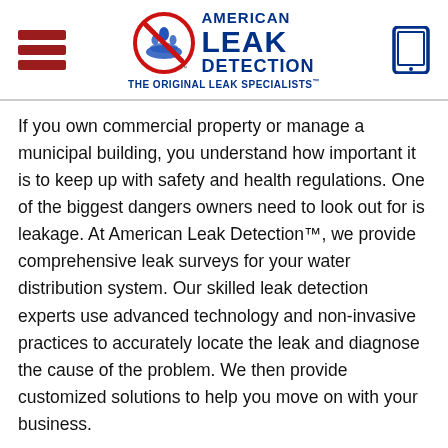[Figure (logo): American Leak Detection logo with circular red no-leak symbol and blue text reading AMERICAN LEAK DETECTION THE ORIGINAL LEAK SPECIALISTS]
If you own commercial property or manage a municipal building, you understand how important it is to keep up with safety and health regulations. One of the biggest dangers owners need to look out for is leakage. At American Leak Detection™, we provide comprehensive leak surveys for your water distribution system. Our skilled leak detection experts use advanced technology and non-invasive practices to accurately locate the leak and diagnose the cause of the problem. We then provide customized solutions to help you move on with your business.
Advantages of our Leak Surveys: